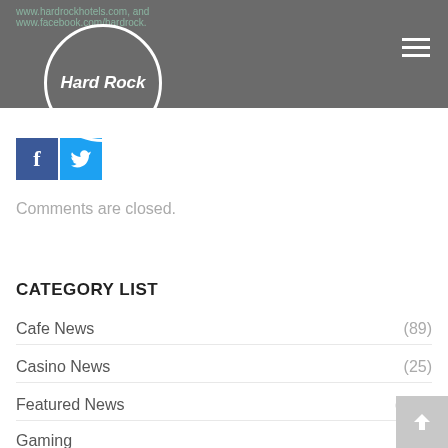Hard Rock | www.hardrockhotels.com, and www.facebook.com/hardrock.
[Figure (logo): Hard Rock logo — white italic text 'Hard Rock' inside a white circle outline on a grey background]
[Figure (illustration): Facebook and Twitter social media icon buttons]
Comments are closed.
CATEGORY LIST
Cafe News (89)
Casino News (25)
Featured News (180)
Gaming (25)